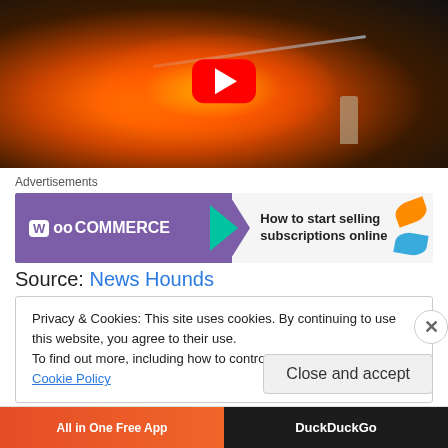[Figure (screenshot): Video thumbnail showing firefighters battling a large fire at night, with a YouTube play button overlay in the center]
Advertisements
[Figure (other): WooCommerce advertisement banner: 'How to start selling subscriptions online']
Source: News Hounds
Privacy & Cookies: This site uses cookies. By continuing to use this website, you agree to their use.
To find out more, including how to control cookies, see here: Cookie Policy
Close and accept